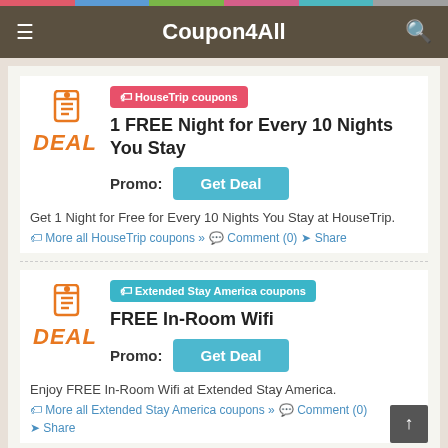Coupon4All
🏷 HouseTrip coupons
1 FREE Night for Every 10 Nights You Stay
Promo: Get Deal
Get 1 Night for Free for Every 10 Nights You Stay at HouseTrip.
More all HouseTrip coupons » Comment (0) Share
🏷 Extended Stay America coupons
FREE In-Room Wifi
Promo: Get Deal
Enjoy FREE In-Room Wifi at Extended Stay America.
More all Extended Stay America coupons » Comment (0) Share